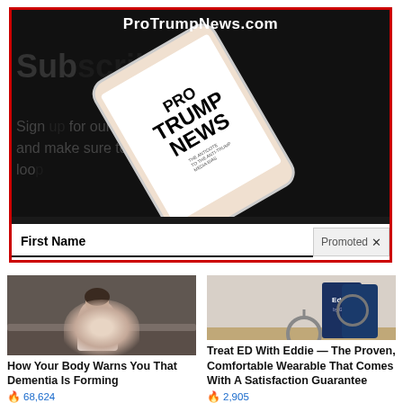[Figure (screenshot): Advertisement for ProTrumpNews.com showing a phone with Pro Trump News text on screen, overlaid on a Subscribe page with partial text visible. Red border around the ad unit. Shows 'ProTrumpNews.com' header, partial 'Subscribe' heading, 'Sign up for our free email newsletter, and make sure to keep in the loop' body text, and a 'First Name' form field with 'Promoted X' label.]
First Name
Promoted X
[Figure (photo): Person sitting on edge of bed in pajamas, head bowed, dimly lit bedroom scene]
How Your Body Warns You That Dementia Is Forming
🔥 68,624
[Figure (photo): Eddie device product photo — circular wearable device next to dark blue product box on wooden surface]
Treat ED With Eddie — The Proven, Comfortable Wearable That Comes With A Satisfaction Guarantee
🔥 2,905